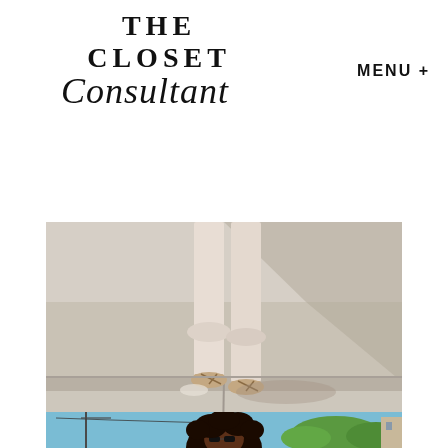THE CLOSET Consultant
MENU +
[Figure (photo): Close-up photo of woman's lower legs and feet wearing sandals and light beige/blush wide-leg trousers, standing on concrete steps in bright sunlight with a shadow cast behind.]
[Figure (photo): Partial photo showing a woman with voluminous curly hair against a blue sky, with utility poles and green trees in background.]